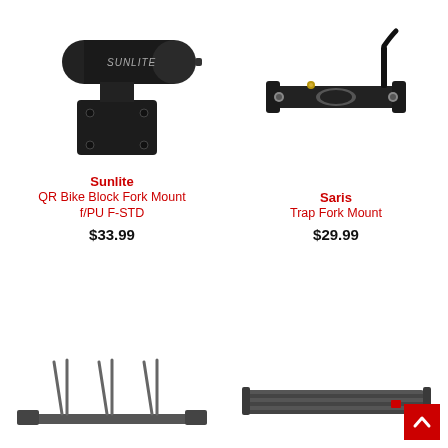[Figure (photo): Sunlite QR Bike Block Fork Mount black cylindrical mount with base plate]
Sunlite
QR Bike Block Fork Mount f/PU F-STD
$33.99
[Figure (photo): Saris Trap Fork Mount black fork mount clamp]
Saris
Trap Fork Mount
$29.99
[Figure (photo): Bike fork mount rack with multiple vertical tines, metal construction]
[Figure (photo): Long rail/track bar in dark gray metal finish with small red accent]